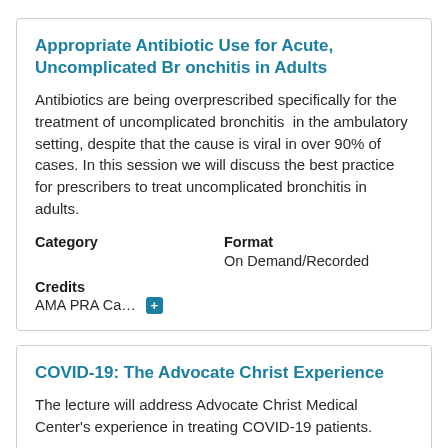Appropriate Antibiotic Use for Acute, Uncomplicated Bronchitis in Adults
Antibiotics are being overprescribed specifically for the treatment of uncomplicated bronchitis in the ambulatory setting, despite that the cause is viral in over 90% of cases. In this session we will discuss the best practice for prescribers to treat uncomplicated bronchitis in adults.
Category
Format
On Demand/Recorded
Credits
AMA PRA Ca... [+]
COVID-19: The Advocate Christ Experience
The lecture will address Advocate Christ Medical Center's experience in treating COVID-19 patients.